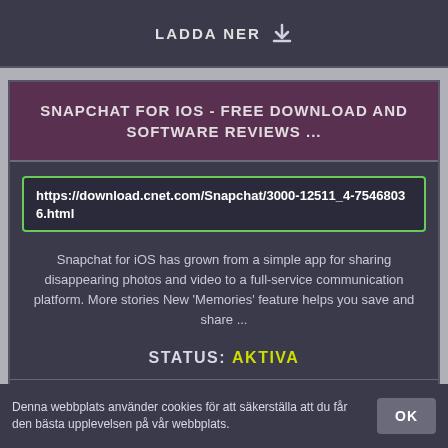LADDA NER
SNAPCHAT FOR IOS - FREE DOWNLOAD AND SOFTWARE REVIEWS ...
https://download.cnet.com/Snapchat/3000-12511_4-75468036.html
Snapchat for iOS has grown from a simple app for sharing disappearing photos and video to a full-service communication platform. More stories New 'Memories' feature helps you save and share ...
STATUS: AKTIVA
FÖRHANDSVISNING
LADDA NER
Denna webbplats använder cookies för att säkerställa att du får den bästa upplevelsen på vår webbplats.